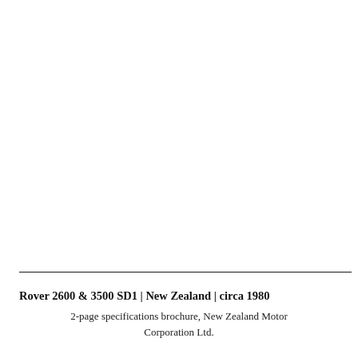Rover 2600 & 3500 SD1 | New Zealand | circa 1980
2-page specifications brochure, New Zealand Motor Corporation Ltd.